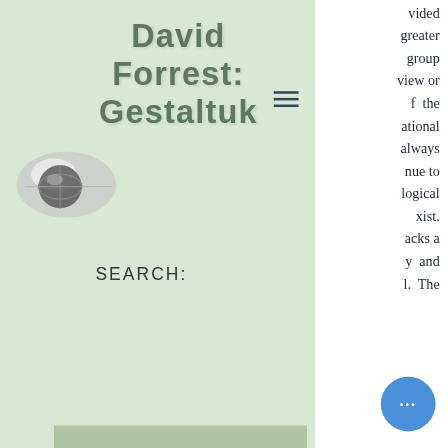David Forrest: Gestaltuk
[Figure (logo): Circular globe/sphere logo in grey and white for Gestaltuk]
SEARCH:
Become a Site Member
Member Login
vided greater group view or f the ational always nue to logical xist. acks a y and l. The clear definition has previously been the parental relationship. Mostly this parental generation has been amenable and support of the YAA to express and be as they need to be and as such is less disagreement – less of the you